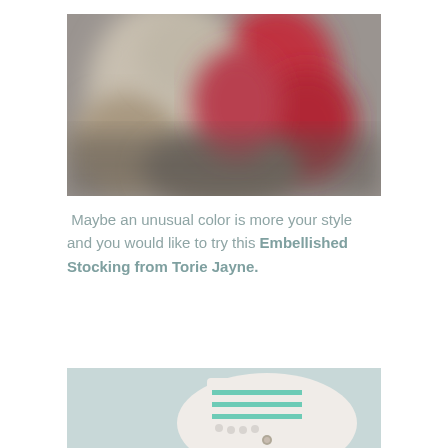[Figure (photo): Blurry photo with red/pink and grey-brown blurred colors, likely a Christmas stocking or decorative item out of focus]
Maybe an unusual color is more your style and you would like to try this Embellished Stocking from Torie Jayne.
[Figure (photo): Partial photo of a white stocking with teal/mint stripe embellishments and pearl-like decorations on a light blue background]